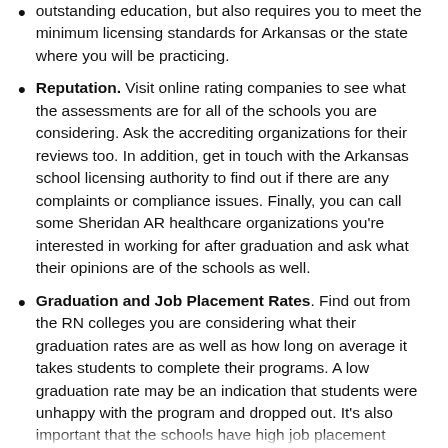outstanding education, but also requires you to meet the minimum licensing standards for Arkansas or the state where you will be practicing.
Reputation. Visit online rating companies to see what the assessments are for all of the schools you are considering. Ask the accrediting organizations for their reviews too. In addition, get in touch with the Arkansas school licensing authority to find out if there are any complaints or compliance issues. Finally, you can call some Sheridan AR healthcare organizations you're interested in working for after graduation and ask what their opinions are of the schools as well.
Graduation and Job Placement Rates. Find out from the RN colleges you are considering what their graduation rates are as well as how long on average it takes students to complete their programs. A low graduation rate may be an indication that students were unhappy with the program and dropped out. It's also important that the schools have high job placement rates...